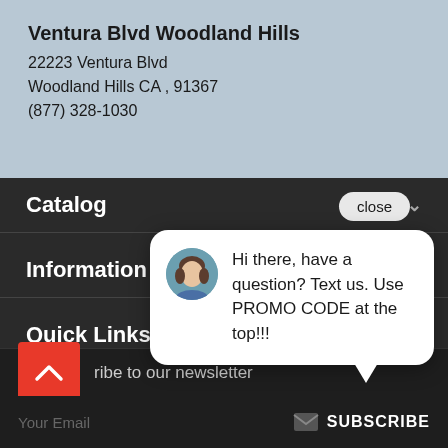Ventura Blvd Woodland Hills
22223 Ventura Blvd
Woodland Hills CA , 91367
(877) 328-1030
Catalog
Information
Quick Links
close
Hi there, have a question? Text us. Use PROMO CODE at the top!!!
ribe to our newsletter
Your Email
SUBSCRIBE